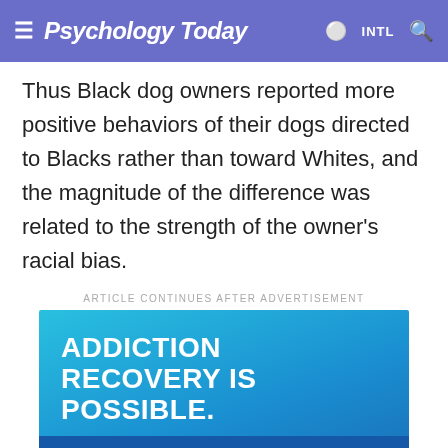Psychology Today — INTL
Thus Black dog owners reported more positive behaviors of their dogs directed to Blacks rather than toward Whites, and the magnitude of the difference was related to the strength of the owner's racial bias.
ARTICLE CONTINUES AFTER ADVERTISEMENT
[Figure (other): Advertisement for McLean Hospital: 'ADDICTION RECOVERY IS POSSIBLE. WE CAN PROVE IT.' with McLean logo and Best Hospitals badge on a blue gradient background.]